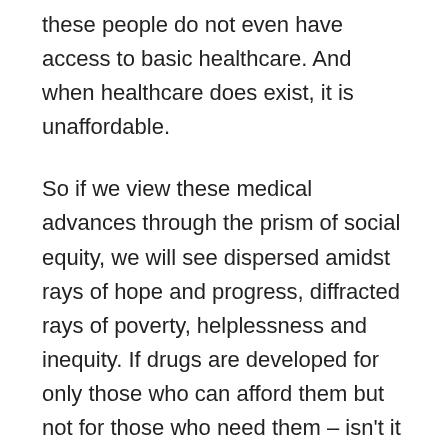these people do not even have access to basic healthcare. And when healthcare does exist, it is unaffordable.
So if we view these medical advances through the prism of social equity, we will see dispersed amidst rays of hope and progress, diffracted rays of poverty, helplessness and inequity. If drugs are developed for only those who can afford them but not for those who need them – isn't it immoral, and, well… unconscionable? In 2014, shouldn't the right to healthcare be a given for every citizen of the world?